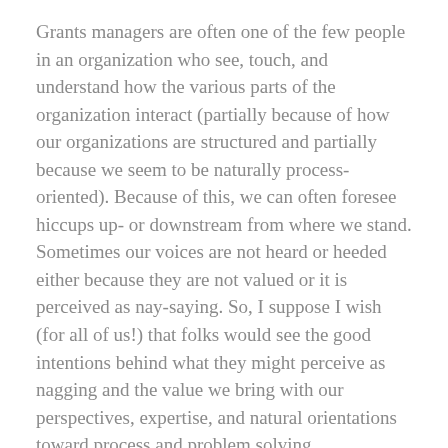Grants managers are often one of the few people in an organization who see, touch, and understand how the various parts of the organization interact (partially because of how our organizations are structured and partially because we seem to be naturally process-oriented). Because of this, we can often foresee hiccups up- or downstream from where we stand. Sometimes our voices are not heard or heeded either because they are not valued or it is perceived as nay-saying. So, I suppose I wish (for all of us!) that folks would see the good intentions behind what they might perceive as nagging and the value we bring with our perspectives, expertise, and natural orientations toward process and problem solving.
Q. What do you wish every grants manager knew about their job?